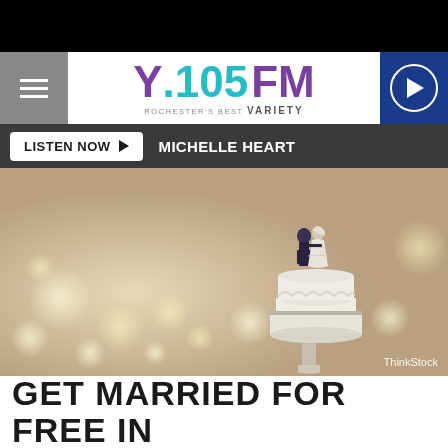[Figure (logo): Y.105FM Rochester's Best Variety radio station logo with purple Y and teal 105FM text]
LISTEN NOW ▶  MICHELLE HEART
[Figure (photo): Wedding cake topper figurines of bride and groom on a white tiered cake, bokeh background with warm golden tones. ThinkStock watermark in bottom right corner.]
GET MARRIED FOR FREE IN